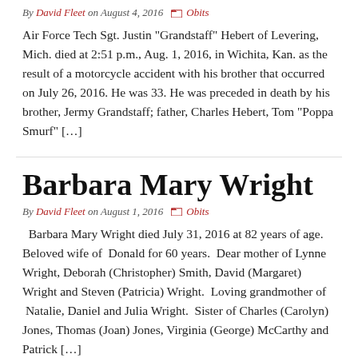By David Fleet on August 4, 2016  Obits
Air Force Tech Sgt. Justin “Grandstaff” Hebert of Levering, Mich. died at 2:51 p.m., Aug. 1, 2016, in Wichita, Kan. as the result of a motorcycle accident with his brother that occurred on July 26, 2016. He was 33. He was preceded in death by his brother, Jermy Grandstaff; father, Charles Hebert, Tom “Poppa Smurf” […]
Barbara Mary Wright
By David Fleet on August 1, 2016  Obits
Barbara Mary Wright died July 31, 2016 at 82 years of age. Beloved wife of Donald for 60 years. Dear mother of Lynne Wright, Deborah (Christopher) Smith, David (Margaret) Wright and Steven (Patricia) Wright. Loving grandmother of Natalie, Daniel and Julia Wright. Sister of Charles (Carolyn) Jones, Thomas (Joan) Jones, Virginia (George) McCarthy and Patrick […]